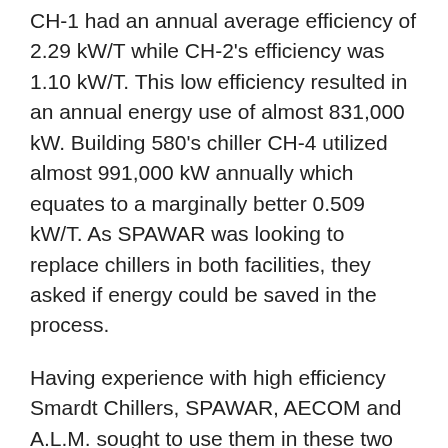CH-1 had an annual average efficiency of 2.29 kW/T while CH-2's efficiency was 1.10 kW/T. This low efficiency resulted in an annual energy use of almost 831,000 kW. Building 580's chiller CH-4 utilized almost 991,000 kW annually which equates to a marginally better 0.509 kW/T. As SPAWAR was looking to replace chillers in both facilities, they asked if energy could be saved in the process.
Having experience with high efficiency Smardt Chillers, SPAWAR, AECOM and A.L.M. sought to use them in these two buildings where energy savings was the major focus. The chillers selected for B40 have a non-standard part load value (NPLV) of 0.370 kW/T and the chiller selected for 580 has an NPLV of 0.357 kW/T. Installing Smardt Chillers saved SPAWAR 68% in energy savings and a combined $102,000 in